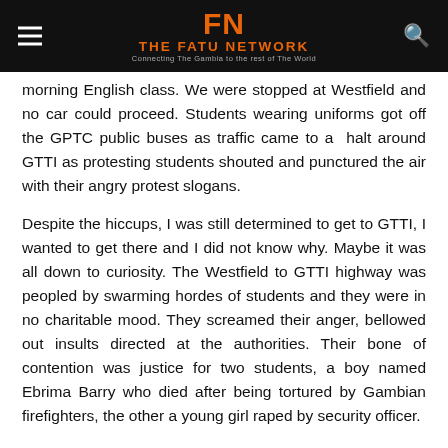THE FATU NETWORK — Connecting The Gambia to the rest of The World
morning English class. We were stopped at Westfield and no car could proceed. Students wearing uniforms got off the GPTC public buses as traffic came to a halt around GTTI as protesting students shouted and punctured the air with their angry protest slogans.
Despite the hiccups, I was still determined to get to GTTI, I wanted to get there and I did not know why. Maybe it was all down to curiosity. The Westfield to GTTI highway was peopled by swarming hordes of students and they were in no charitable mood. They screamed their anger, bellowed out insults directed at the authorities. Their bone of contention was justice for two students, a boy named Ebrima Barry who died after being tortured by Gambian firefighters, the other a young girl raped by security officer.